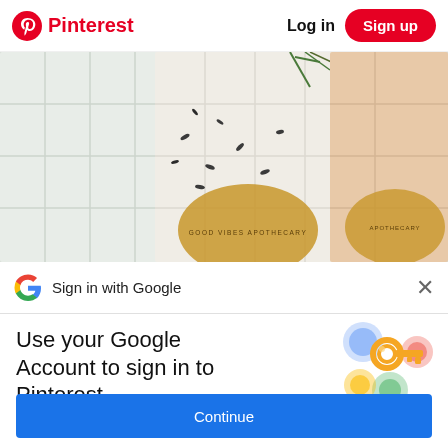Pinterest  Log in  Sign up
[Figure (photo): Overhead photo of white and tan chocolate bars with lavender seeds and rosemary sprigs, labeled Good Vibes Apothecary and Apothecary]
Sign in with Google
Use your Google Account to sign in to Pinterest
No more passwords to remember. Signing in is fast, simple and secure.
[Figure (illustration): Google key illustration with colorful overlapping circles and a gold key]
Continue